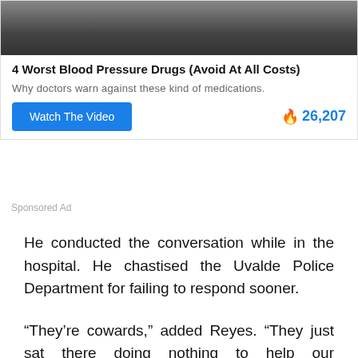[Figure (photo): Partial photo of medication/drugs on a surface, dark background, shown at top of advertisement]
4 Worst Blood Pressure Drugs (Avoid At All Costs)
Why doctors warn against these kind of medications.
Watch The Video   🔥 26,207
Sponsored Ad
He conducted the conversation while in the hospital. He chastised the Uvalde Police Department for failing to respond sooner.
“They’re cowards,” added Reyes. “They just sat there doing nothing to help our neighborhood. It took a very long time for them to get in. They will